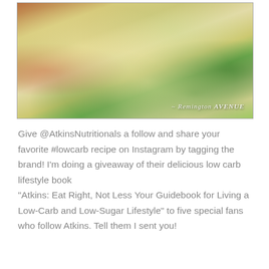[Figure (photo): Close-up food photo showing a dish with shredded cheese, green beans, and red tomatoes on a plate. Watermark reads 'Remington AVENUE' in the bottom right corner.]
Give @AtkinsNutritionals a follow and share your favorite #lowcarb recipe on Instagram by tagging the brand! I'm doing a giveaway of their delicious low carb lifestyle book “Atkins: Eat Right, Not Less Your Guidebook for Living a Low-Carb and Low-Sugar Lifestyle” to five special fans who follow Atkins. Tell them I sent you!